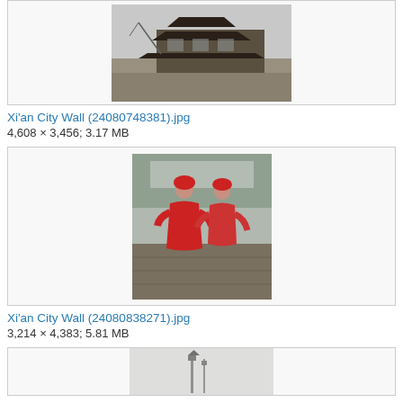[Figure (photo): Photo of Xi'an City Wall building - a traditional Chinese pagoda-style tower structure on top of a stone wall]
Xi'an City Wall (24080748381).jpg
4,608 × 3,456; 3.17 MB
[Figure (photo): Photo of two women in traditional red Chinese costumes standing in front of Xi'an City Wall]
Xi'an City Wall (24080838271).jpg
3,214 × 4,383; 5.81 MB
[Figure (photo): Partial photo of Xi'an City Wall, bottom of page]